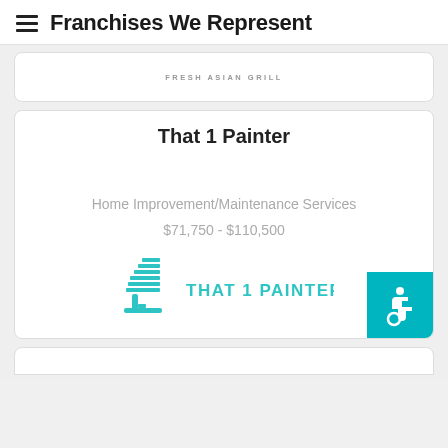Franchises We Represent
FRESH ASIAN GRILL
That 1 Painter
Home Improvement/Maintenance Services
$71,750 - $110,500
[Figure (logo): That 1 Painter brand logo with teal paintbrush icon and text 'THAT 1 PAINTER']